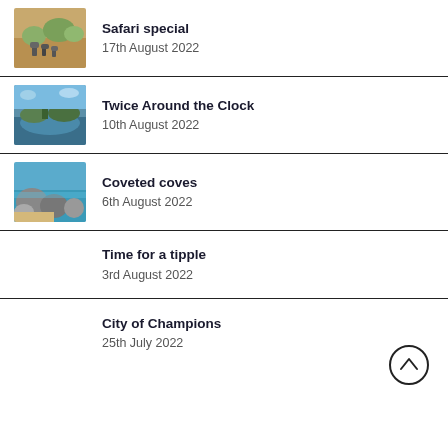Safari special
17th August 2022
Twice Around the Clock
10th August 2022
Coveted coves
6th August 2022
Time for a tipple
3rd August 2022
City of Champions
25th July 2022